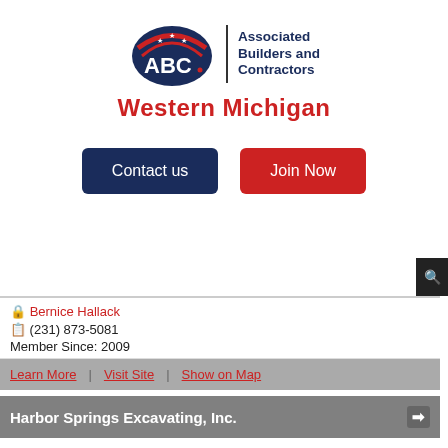[Figure (logo): ABC Associated Builders and Contractors Western Michigan logo with American flag-themed emblem]
Contact us
Join Now
Bernice Hallack
(231) 873-5081
Member Since: 2009
Learn More | Visit Site | Show on Map
Harbor Springs Excavating, Inc.
1084 Mc Bride Park Drive
Harbor Springs, MI 49740 9456
Greg Gallagher